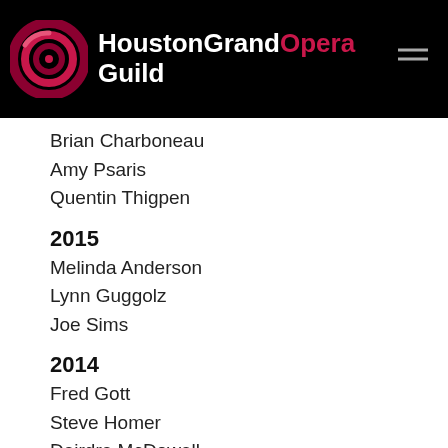[Figure (logo): Houston Grand Opera Guild logo with spiral emblem and text]
Brian Charboneau
Amy Psaris
Quentin Thigpen
2015
Melinda Anderson
Lynn Guggolz
Joe Sims
2014
Fred Gott
Steve Homer
Deirdre McDowell
Ro and Bob Rea
2013
Andrew Bowen and Efrain Garza